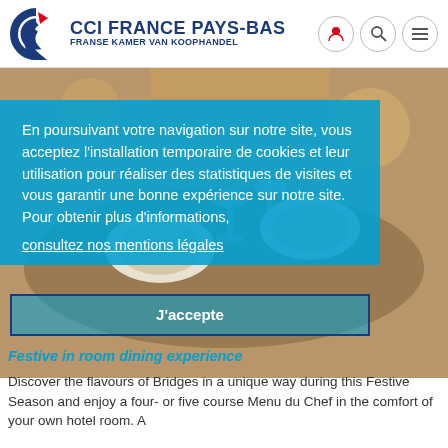CCI FRANCE PAYS-BAS — FRANSE KAMER VAN KOOPHANDEL
[Figure (photo): Photo of festive dining table setup with plates, glasses and food, partially visible behind a semi-transparent blue cookie consent overlay]
En poursuivant votre navigation sur notre site, vous acceptez l'installation temporaire de cookies et leur utilisation pour réaliser des statistiques de visites et vous garantir une bonne expérience sur notre site. Pour obtenir plus d'informations, consultez nos mentions légales
J'accepte
Festive in room dining experience
Discover the flavours of Bridges in a unique way during this Festive Season and enjoy a four- or five course Menu du Chef in the comfort of your own hotel room. A